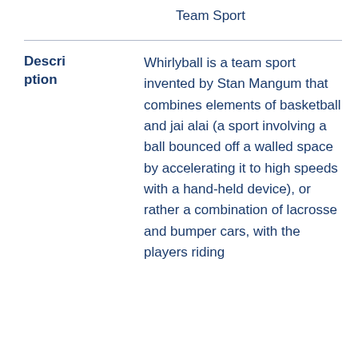Team Sport
Description
Whirlyball is a team sport invented by Stan Mangum that combines elements of basketball and jai alai (a sport involving a ball bounced off a walled space by accelerating it to high speeds with a hand-held device), or rather a combination of lacrosse and bumper cars, with the players riding